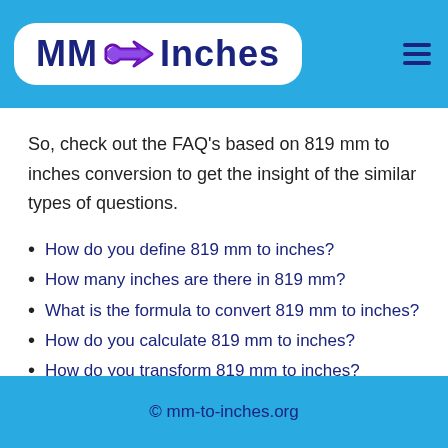MM → Inches
So, check out the FAQ's based on 819 mm to inches conversion to get the insight of the similar types of questions.
How do you define 819 mm to inches?
How many inches are there in 819 mm?
What is the formula to convert 819 mm to inches?
How do you calculate 819 mm to inches?
How do you transform 819 mm to inches?
© mm-to-inches.org